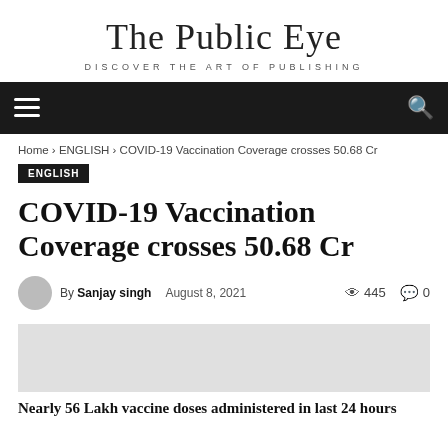The Public Eye
DISCOVER THE ART OF PUBLISHING
Home › ENGLISH › COVID-19 Vaccination Coverage crosses 50.68 Cr
ENGLISH
COVID-19 Vaccination Coverage crosses 50.68 Cr
By Sanjay singh   August 8, 2021   445   0
Nearly 56 Lakh vaccine doses administered in last 24 hours